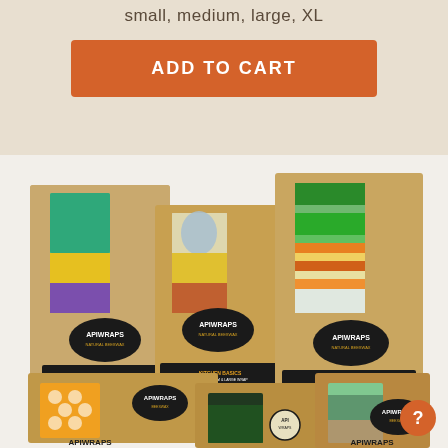small, medium, large, XL
ADD TO CART
[Figure (photo): Multiple APIWRAPS beeswax wrap product boxes in kraft paper packaging, displaying various colorful fabric wrap patterns inside window cutouts. Boxes are stacked and arranged showing different product sets including Kitchen Basics and The Apiwrap Set in small, medium, large, and XL sizes.]